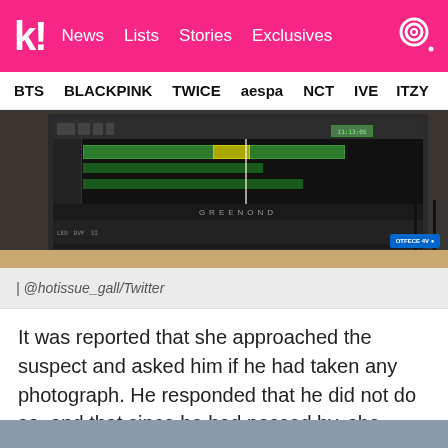k! News  Lists  Stories  Exclusives
BTS  BLACKPINK  TWICE  aespa  NCT  IVE  ITZY
[Figure (screenshot): Screenshot of a video editing software (Greenond monitor) showing a timeline with green and yellow clips on a dark interface.]
| @hotissue_gall/Twitter
It was reported that she approached the suspect and asked him if he had taken any photograph. He responded that he did not do so, and that since he had passed by, she could have misunderstood the situation. He further explained that he passed by her in search for his friend, protesting the accusations.